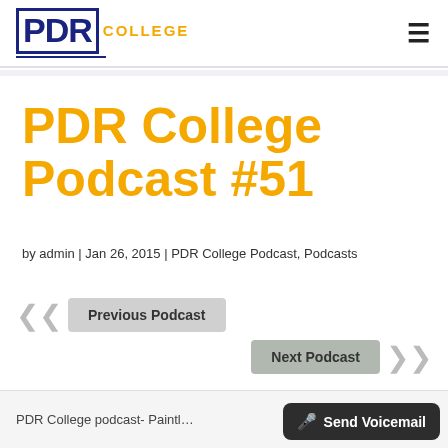PDR COLLEGE
PDR College Podcast #51
by admin | Jan 26, 2015 | PDR College Podcast, Podcasts
Previous Podcast
Next Podcast
PDR College podcast- Paintl…